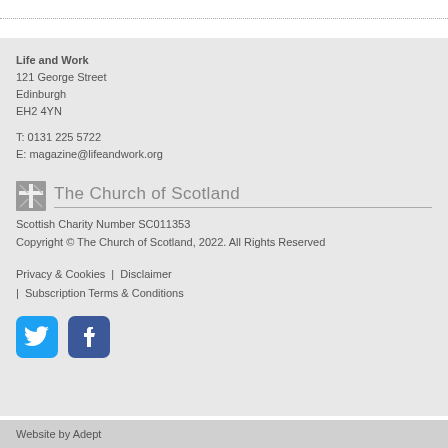Life and Work
121 George Street
Edinburgh
EH2 4YN
T: 0131 225 5722
E: magazine@lifeandwork.org
[Figure (logo): The Church of Scotland logo with cross motif and name]
Scottish Charity Number SC011353
Copyright © The Church of Scotland, 2022. All Rights Reserved
Privacy & Cookies  |  Disclaimer
|  Subscription Terms & Conditions
[Figure (logo): Twitter and Facebook social media icons]
Website by Adept